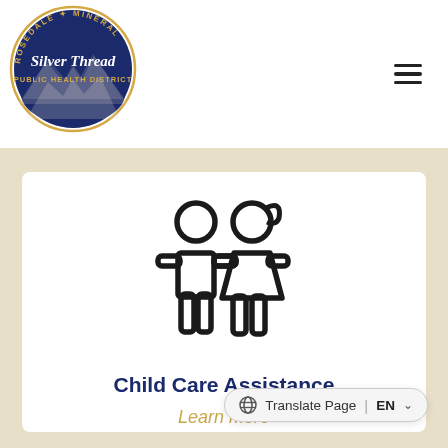[Figure (logo): Silver Thread Public Health District circular logo with mountain landscape illustration, text reads ROSEDALE MINERAL around the top, Silver Thread in cursive, PUBLIC HEALTH DISTRICT below]
[Figure (illustration): Two children icon: a boy and a girl holding hands, simple line art style in black]
Child Care Assistance
Learn more
Translate Page | EN ▾